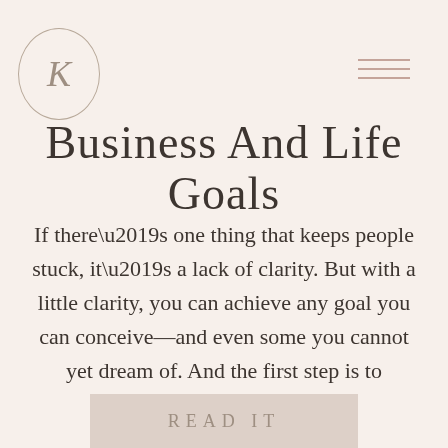K [logo] [hamburger menu]
Business And Life Goals
If there’s one thing that keeps people stuck, it’s a lack of clarity. But with a little clarity, you can achieve any goal you can conceive—and even some you cannot yet dream of. And the first step is to
READ IT